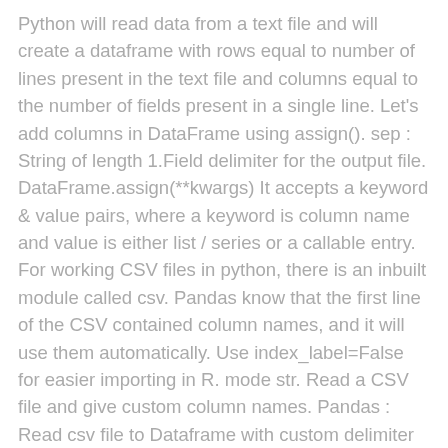Python will read data from a text file and will create a dataframe with rows equal to number of lines present in the text file and columns equal to the number of fields present in a single line. Let's add columns in DataFrame using assign(). sep : String of length 1.Field delimiter for the output file. DataFrame.assign(**kwargs) It accepts a keyword & value pairs, where a keyword is column name and value is either list / series or a callable entry. For working CSV files in python, there is an inbuilt module called csv. Pandas know that the first line of the CSV contained column names, and it will use them automatically. Use index_label=False for easier importing in R. mode str. Read a CSV file and give custom column names. Pandas : Read csv file to Dataframe with custom delimiter in Python; Python Pandas : How to convert lists to a dataframe You can access the column names using index. A csv file is simply consists of values, commas and newlines. Writing to CSV file with Pandas is as easy as reading. It returns a new dataframe and doesn't modify the current dataframe. Each record consists of one or more fields, separated